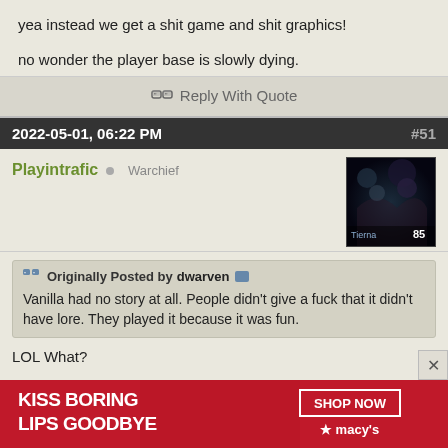yea instead we get a shit game and shit graphics!
no wonder the player base is slowly dying.
Reply With Quote
2022-05-01, 06:22 PM  #51
Playintrafic  Warchief
Originally Posted by dwarven
Vanilla had no story at all. People didn't give a fuck that it didn't have lore. They played it because it was fun.
LOL What?
It had a huge sprawling story, many of them. Some of them interwoven. All those quests you do for exp... they have story behind them.
Just because there wasn't a cutscene every 3 quests in classic doesn't mean there was no lore or story.
[Figure (infographic): Macy's advertisement: KISS BORING LIPS GOODBYE with SHOP NOW button and macy's star logo, featuring a woman with red lips]